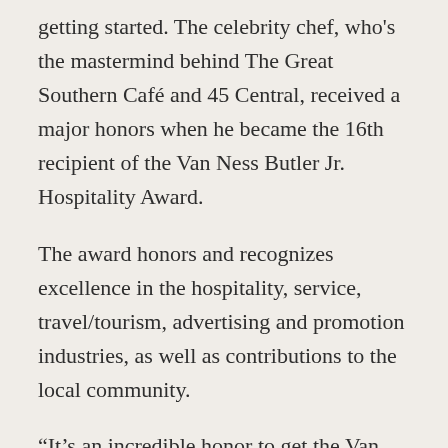getting started. The celebrity chef, who's the mastermind behind The Great Southern Café and 45 Central, received a major honors when he became the 16th recipient of the Van Ness Butler Jr. Hospitality Award.
The award honors and recognizes excellence in the hospitality, service, travel/tourism, advertising and promotion industries, as well as contributions to the local community.
“It’s an incredible honor to get the Van Ness Butler Jr. Award,” Shirley says. “I’ve seen all the great work done by the people that have received this before and it’s amazing when you achieve something like this.”